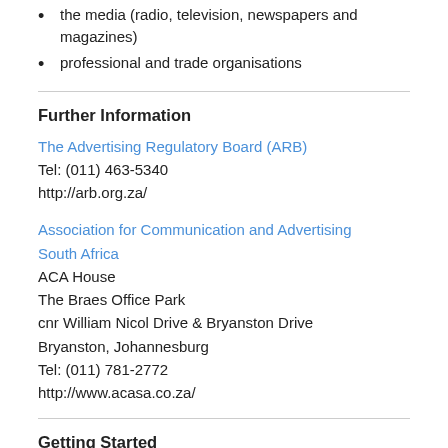the media (radio, television, newspapers and magazines)
professional and trade organisations
Further Information
The Advertising Regulatory Board (ARB)
Tel: (011) 463-5340
http://arb.org.za/
Association for Communication and Advertising South Africa
ACA House
The Braes Office Park
cnr William Nicol Drive & Bryanston Drive
Bryanston, Johannesburg
Tel: (011) 781-2772
http://www.acasa.co.za/
Getting Started
try to obtain vacation work in a company employing copywriters